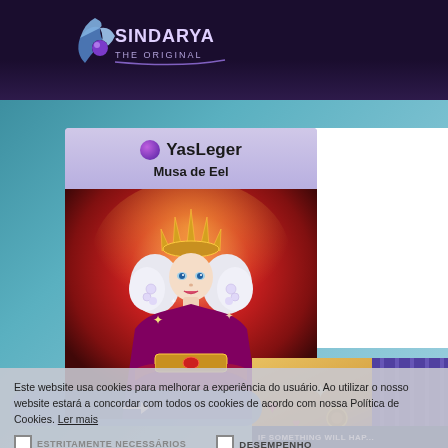[Figure (screenshot): Sindarya The Original game logo in top dark bar]
YasLeger
Musa de Eel
[Figure (illustration): Fantasy female character in red and gold robes with crown, white hair, on red radiant background]
Este website usa cookies para melhorar a experiência do usuário. Ao utilizar o nosso website estará a concordar com todos os cookies de acordo com nossa Política de Cookies. Ler mais
ESTRITAMENTE NECESSÁRIOS
DESEMPENHO
DIRECIONAMENTO
NÃO CLASSIFICADOS
[Figure (illustration): Decorative game artwork with gold and purple patterns in bottom right]
IF SOMETHING WILL HAP...